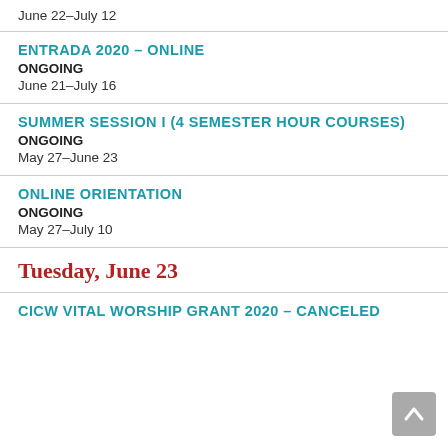June 22–July 12
ENTRADA 2020 – ONLINE
ONGOING
June 21–July 16
SUMMER SESSION I (4 SEMESTER HOUR COURSES)
ONGOING
May 27–June 23
ONLINE ORIENTATION
ONGOING
May 27–July 10
Tuesday, June 23
CICW VITAL WORSHIP GRANT 2020 – CANCELED